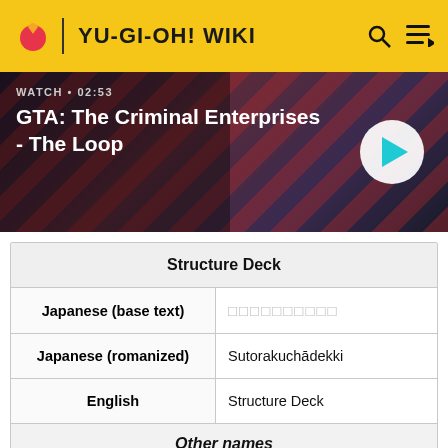YU-GI-OH! WIKI
[Figure (screenshot): Video thumbnail banner for GTA: The Criminal Enterprises - The Loop, showing dark striped background with play button. Duration: 02:53]
| Structure Deck |
| --- |
| Japanese (base text) | □□□□□□□□□□ |
| Japanese (romanized) | Sutorakuchādekki |
| English | Structure Deck |
Other names
French: Deck de Structure
German: Structure Deck
Italian: Structure Deck